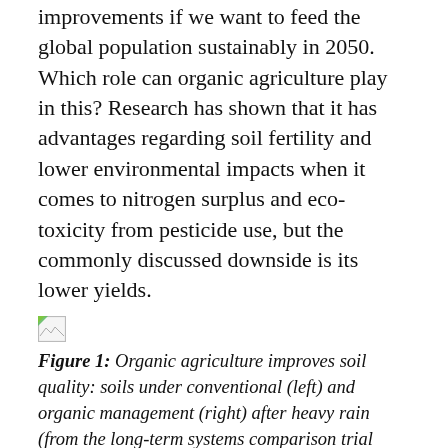improvements if we want to feed the global population sustainably in 2050. Which role can organic agriculture play in this? Research has shown that it has advantages regarding soil fertility and lower environmental impacts when it comes to nitrogen surplus and eco-toxicity from pesticide use, but the commonly discussed downside is its lower yields.
[Figure (photo): Broken/missing image placeholder (small icon with green corner)]
Figure 1: Organic agriculture improves soil quality: soils under conventional (left) and organic management (right) after heavy rain (from the long-term systems comparison trial DOK; Photo: Research Institute of Organic Agriculture FiBL, Switzerland).
Another interesting question is what role